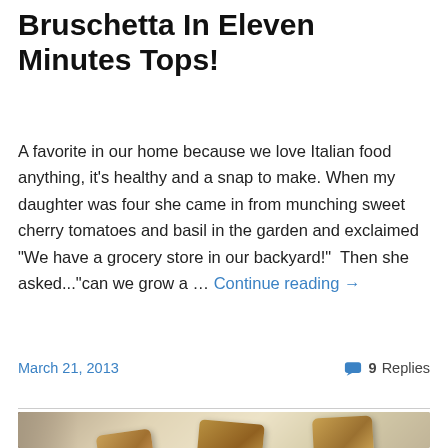Bruschetta In Eleven Minutes Tops!
A favorite in our home because we love Italian food anything, it's healthy and a snap to make. When my daughter was four she came in from munching sweet cherry tomatoes and basil in the garden and exclaimed "We have a grocery store in our backyard!" Then she asked..."can we grow a … Continue reading →
March 21, 2013
9 Replies
[Figure (photo): Close-up photo of a creamy soup or casserole dish with toasted croutons floating on top, in a dark bowl]